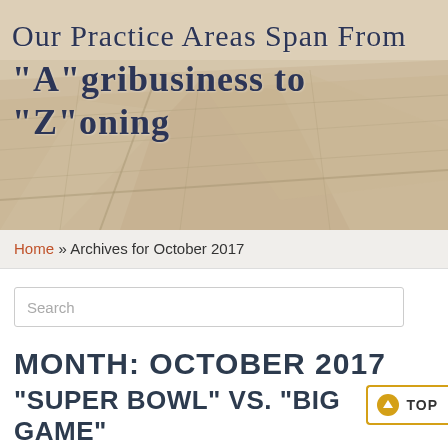[Figure (photo): Aerial photograph of agricultural farmland fields, sepia/beige toned, used as hero banner background]
Our Practice Areas Span From "A"gribusiness to "Z"oning
Home » Archives for October 2017
Search
Month: October 2017
"Super Bowl" vs. "Big Game"